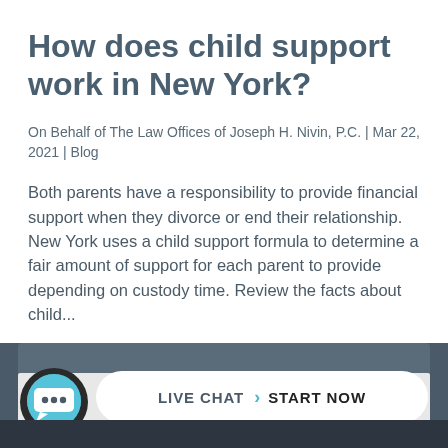How does child support work in New York?
On Behalf of The Law Offices of Joseph H. Nivin, P.C. | Mar 22, 2021 | Blog
Both parents have a responsibility to provide financial support when they divorce or end their relationship. New York uses a child support formula to determine a fair amount of support for each parent to provide depending on custody time. Review the facts about child...
[Figure (other): Live chat widget bar with chat bubble icon and 'LIVE CHAT › START NOW' button on dark background]